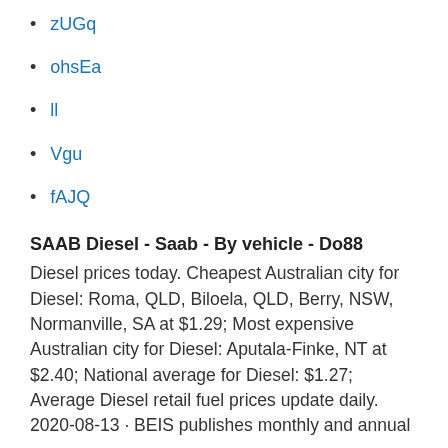zUGq
ohsEa
ll
Vgu
fAJQ
SAAB Diesel - Saab - By vehicle - Do88
Diesel prices today. Cheapest Australian city for Diesel: Roma, QLD, Biloela, QLD, Berry, NSW, Normanville, SA at $1.29; Most expensive Australian city for Diesel: Aputala-Finke, NT at $2.40; National average for Diesel: $1.27; Average Diesel retail fuel prices update daily. 2020-08-13 · BEIS publishes monthly and annual